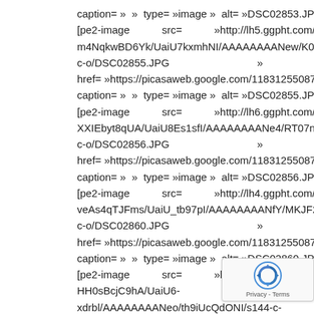caption= » » type= »image » alt= »DSC02853.JPG » ]
[pe2-image           src=           »http://lh5.ggpht.com/-m4NqkwBD6Yk/UaiU7kxmhNI/AAAAAAAANew/K0g1R1JoYbg/s
c-o/DSC02855.JPG                                              »
href= »https://picasaweb.google.com/11831255087693868055ₑ
caption= » » type= »image » alt= »DSC02855.JPG » ]
[pe2-image           src=           »http://lh6.ggpht.com/-XXIEbyt8qUA/UaiU8Es1sfI/AAAAAAAANe4/RT07nty7UFM/s144
c-o/DSC02856.JPG                                              »
href= »https://picasaweb.google.com/11831255087693868055ₑ
caption= » » type= »image » alt= »DSC02856.JPG » ]
[pe2-image           src=           »http://lh4.ggpht.com/-veAs4qTJFms/UaiU_tb97pI/AAAAAAAANfY/MKJF2JyyoVM/s14
c-o/DSC02860.JPG                                              »
href= »https://picasaweb.google.com/11831255087693868055ₑ
caption= » » type= »image » alt= »DSC02860.JPG » ]
[pe2-image           src=           »http://lh5.ggpht.co
HH0sBcjC9hA/UaiU6-
xdrbl/AAAAAAAANeo/th9iUcQdONI/s144-c-
o/DSC02854.JPG                                               »
[Figure (other): reCAPTCHA badge with logo and Privacy - Terms text]